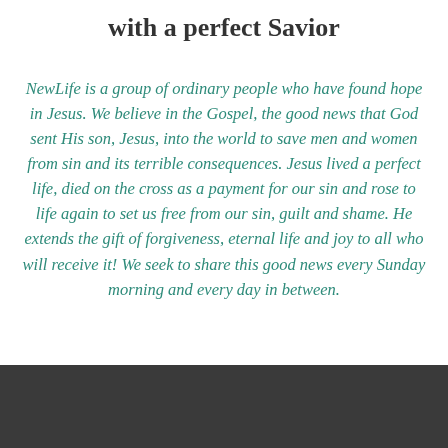with a perfect Savior
NewLife is a group of ordinary people who have found hope in Jesus. We believe in the Gospel, the good news that God sent His son, Jesus, into the world to save men and women from sin and its terrible consequences. Jesus lived a perfect life, died on the cross as a payment for our sin and rose to life again to set us free from our sin, guilt and shame. He extends the gift of forgiveness, eternal life and joy to all who will receive it! We seek to share this good news every Sunday morning and every day in between.